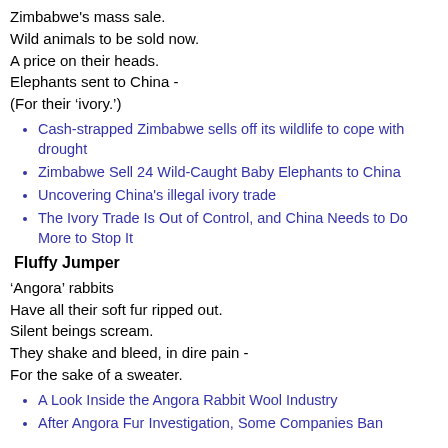Zimbabwe's mass sale.
Wild animals to be sold now.
A price on their heads.
Elephants sent to China -
(For their ‘ivory.’)
Cash-strapped Zimbabwe sells off its wildlife to cope with drought
Zimbabwe Sell 24 Wild-Caught Baby Elephants to China
Uncovering China's illegal ivory trade
The Ivory Trade Is Out of Control, and China Needs to Do More to Stop It
Fluffy Jumper
‘Angora’ rabbits
Have all their soft fur ripped out.
Silent beings scream.
They shake and bleed, in dire pain -
For the sake of a sweater.
A Look Inside the Angora Rabbit Wool Industry
After Angora Fur Investigation, Some Companies Ban